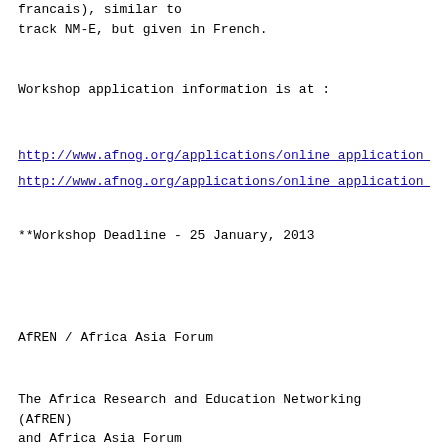francais), similar to
track NM-E, but given in French.
Workshop application information is at :
http://www.afnog.org/applications/online_application_en.p
http://www.afnog.org/applications/online_application_fr.p
**Workshop Deadline - 25 January, 2013
AfREN / Africa Asia Forum
The Africa Research and Education Networking  (AfREN)
and Africa Asia Forum